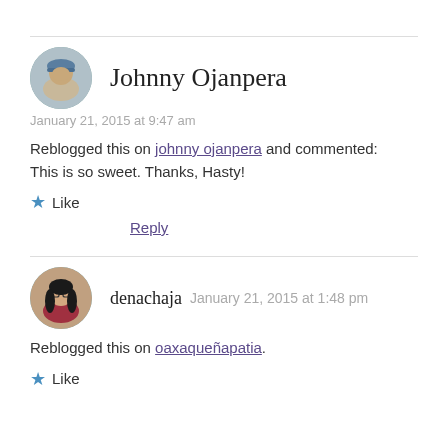Johnny Ojanpera
January 21, 2015 at 9:47 am
Reblogged this on johnny ojanpera and commented:
This is so sweet. Thanks, Hasty!
Like
Reply
denachaja  January 21, 2015 at 1:48 pm
Reblogged this on oaxaqueñapatia.
Like